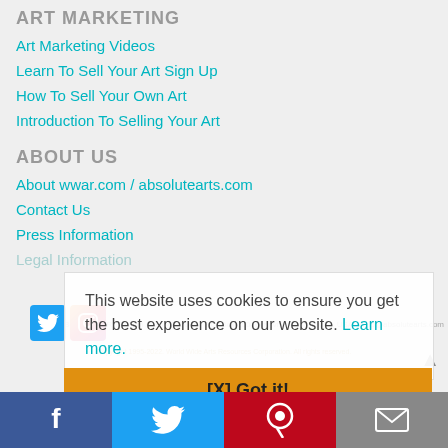ART MARKETING
Art Marketing Videos
Learn To Sell Your Art Sign Up
How To Sell Your Own Art
Introduction To Selling Your Art
ABOUT US
About wwar.com / absolutearts.com
Contact Us
Press Information
Legal Information
This website uses cookies to ensure you get the best experience on our website. Learn more.
ABSOLUTEARTS.COM / WWAR.COM - P.O. Box 150, Granville, Ohio 43023, USA - help@absolutearts.com
Copyright 1995-2022. World Wide Arts Resources Corporation. All rights reserved.
[X] Got it!